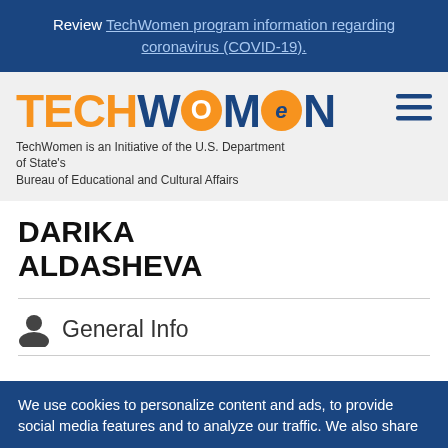Review TechWomen program information regarding coronavirus (COVID-19).
[Figure (logo): TechWomen logo with orange TECH and blue WOMEN text, orange circle @e symbol. Hamburger menu icon top right. Subtitle: TechWomen is an Initiative of the U.S. Department of State's Bureau of Educational and Cultural Affairs]
DARIKA ALDASHEVA
General Info
We use cookies to personalize content and ads, to provide social media features and to analyze our traffic. We also share